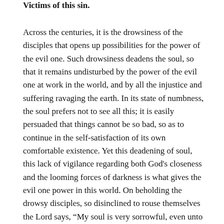Victims of this sin.
Across the centuries, it is the drowsiness of the disciples that opens up possibilities for the power of the evil one. Such drowsiness deadens the soul, so that it remains undisturbed by the power of the evil one at work in the world, and by all the injustice and suffering ravaging the earth. In its state of numbness, the soul prefers not to see all this; it is easily persuaded that things cannot be so bad, so as to continue in the self-satisfaction of its own comfortable existence. Yet this deadening of soul, this lack of vigilance regarding both God's closeness and the looming forces of darkness is what gives the evil one power in this world. On beholding the drowsy disciples, so disinclined to rouse themselves the Lord says, “My soul is very sorrowful, even unto death.” (Mt. 26:38, from Ps 43:5).5